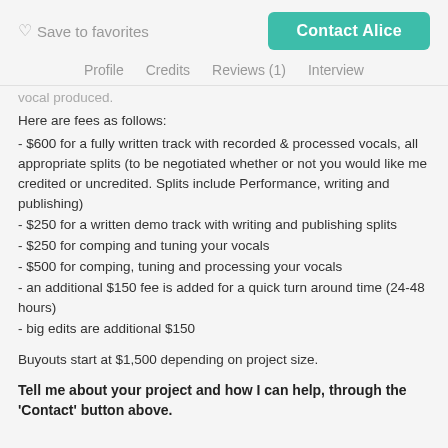♡ Save to favorites   Contact Alice
Profile   Credits   Reviews (1)   Interview
vocal produced.
Here are fees as follows:
- $600 for a fully written track with recorded & processed vocals, all appropriate splits (to be negotiated whether or not you would like me credited or uncredited. Splits include Performance, writing and publishing)
- $250 for a written demo track with writing and publishing splits
- $250 for comping and tuning your vocals
- $500 for comping, tuning and processing your vocals
- an additional $150 fee is added for a quick turn around time (24-48 hours)
- big edits are additional $150
Buyouts start at $1,500 depending on project size.
Tell me about your project and how I can help, through the 'Contact' button above.